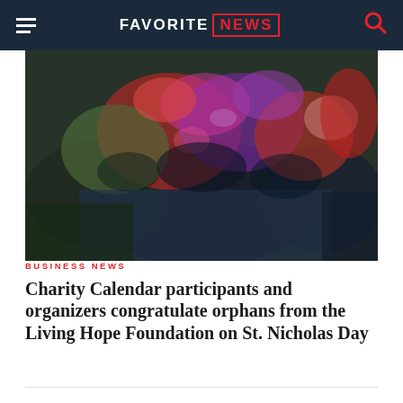FAVORITE NEWS
[Figure (photo): People holding colorful wrapped gifts and fabrics, viewed from above]
BUSINESS NEWS
Charity Calendar participants and organizers congratulate orphans from the Living Hope Foundation on St. Nicholas Day